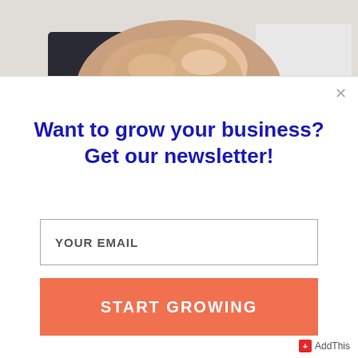[Figure (photo): People joining hands together in a team gesture, seen from above on a white background]
Want to grow your business? Get our newsletter!
YOUR EMAIL
START GROWING
AddThis